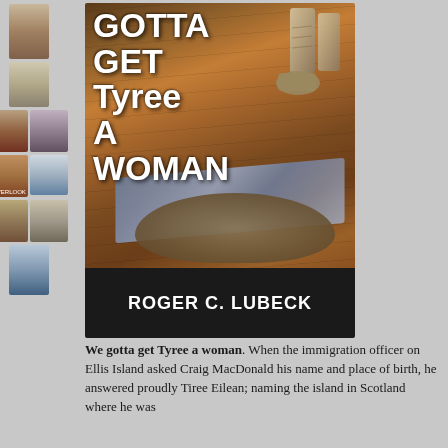[Figure (illustration): Book cover for 'Gotta Get Tyree A Woman' by Roger C. Lubeck. Shows cowboy boots, worn jeans, and a cowboy hat on a wood plank floor background. Title text in white handwritten font, author name in white bold sans-serif on black band at bottom.]
[Figure (illustration): Sidebar showing thumbnail images of other books by same author or related titles, stacked vertically on left edge of page.]
We gotta get Tyree a woman. When the immigration officer on Ellis Island asked Craig MacDonald his name and place of birth, he answered proudly Tiree Eilean; naming the island in Scotland where he was